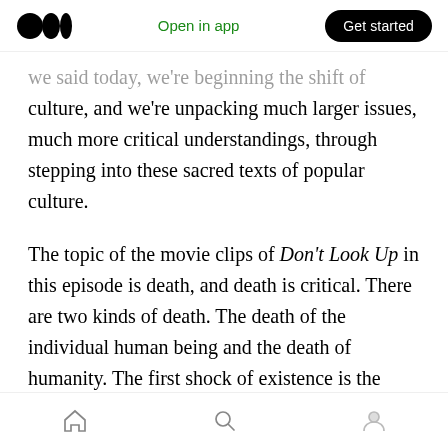Medium logo | Open in app | Get started
…we said today, we're beginning the shift of culture, and we're unpacking much larger issues, much more critical understandings, through stepping into these sacred texts of popular culture.
The topic of the movie clips of Don't Look Up in this episode is death, and death is critical. There are two kinds of death. The death of the individual human being and the death of humanity. The first shock of existence is the realization of the death of the human being. The second shock of existence is the realization of the